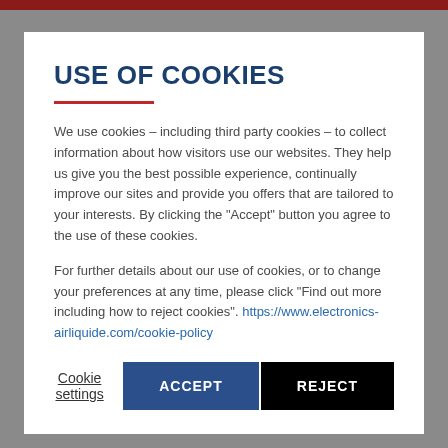USE OF COOKIES
We use cookies – including third party cookies – to collect information about how visitors use our websites. They help us give you the best possible experience, continually improve our sites and provide you offers that are tailored to your interests. By clicking the "Accept" button you agree to the use of these cookies.
For further details about our use of cookies, or to change your preferences at any time, please click "Find out more including how to reject cookies". https://www.electronics-airliquide.com/cookie-policy